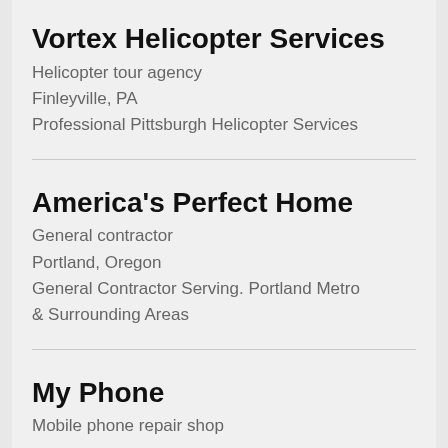Vortex Helicopter Services
Helicopter tour agency
Finleyville, PA
Professional Pittsburgh Helicopter Services
America's Perfect Home
General contractor
Portland, Oregon
General Contractor Serving. Portland Metro & Surrounding Areas
My Phone
Mobile phone repair shop